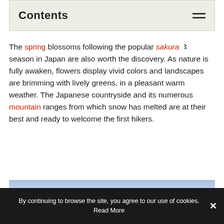Contents
The spring blossoms following the popular sakura 〻 season in Japan are also worth the discovery. As nature is fully awaken, flowers display vivid colors and landscapes are brimming with lively greens, in a pleasant warm weather. The Japanese countryside and its numerous mountain ranges from which snow has melted are at their best and ready to welcome the first hikers.
[Figure (photo): Blue sky with wispy clouds, partial view of a landscape photo]
By continuing to browse the site, you agree to our use of cookies. Read More